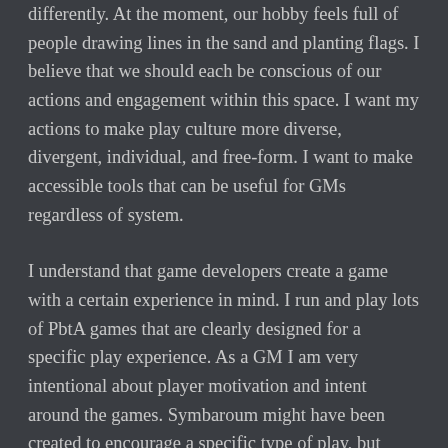differently. At the moment, our hobby feels full of people drawing lines in the sand and planting flags. I believe that we should each be conscious of our actions and engagement within this space. I want my actions to make play culture more diverse, divergent, individual, and free-form. I want to make accessible tools that can be useful for GMs regardless of system.
I understand that game developers create a game with a certain experience in mind. I run and play lots of PbtA games that are clearly designed for a specific play experience. As a GM I am very intentional about player motivation and intent around the games. Symbaroum might have been created to encourage a specific type of play, but choosing to engage with it differently should not be viewed as an insult or as an act of resistance.